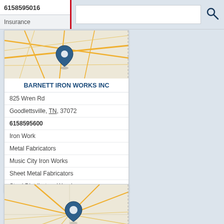6158595016
Insurance
[Figure (map): Street map showing location of Barnett Iron Works Inc in Goodlettsville, TN with a blue map pin marker]
BARNETT IRON WORKS INC
825 Wren Rd
Goodlettsville, TN, 37072
6158595600
Iron Work
Metal Fabricators
Music City Iron Works
Sheet Metal Fabricators
Steel Distributors Warehouses
[Figure (map): Street map showing location of Barton Ross A Atty with a blue map pin marker in a city center]
BARTON ROSS A ATTY